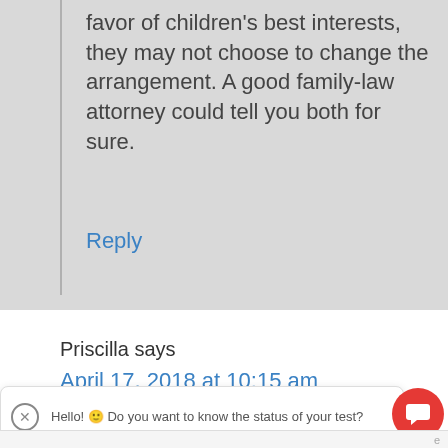favor of children's best interests, they may not choose to change the arrangement. A good family-law attorney could tell you both for sure.
Reply
Priscilla says
April 17, 2018 at 10:15 am
Hello! 🙂 Do you want to know the status of your test?